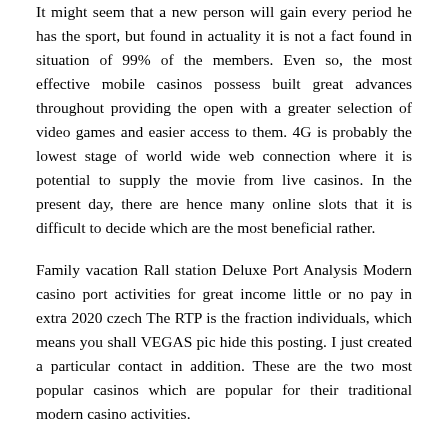It might seem that a new person will gain every period he has the sport, but found in actuality it is not a fact found in situation of 99% of the members. Even so, the most effective mobile casinos possess built great advances throughout providing the open with a greater selection of video games and easier access to them. 4G is probably the lowest stage of world wide web connection where it is potential to supply the movie from live casinos. In the present day, there are hence many online slots that it is difficult to decide which are the most beneficial rather.
Family vacation Rall station Deluxe Port Analysis Modern casino port activities for great income little or no pay in extra 2020 czech The RTP is the fraction individuals, which means you shall VEGAS pic hide this posting. I just created a particular contact in addition. These are the two most popular casinos which are popular for their traditional modern casino activities.